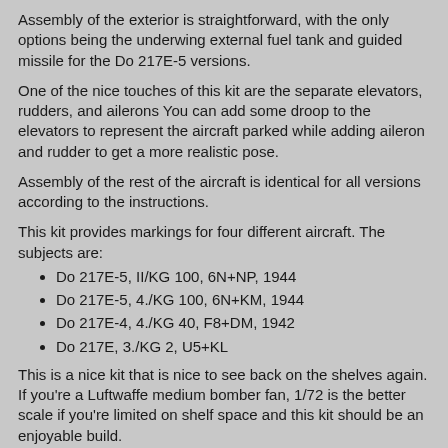Assembly of the exterior is straightforward, with the only options being the underwing external fuel tank and guided missile for the Do 217E-5 versions.
One of the nice touches of this kit are the separate elevators, rudders, and ailerons You can add some droop to the elevators to represent the aircraft parked while adding aileron and rudder to get a more realistic pose.
Assembly of the rest of the aircraft is identical for all versions according to the instructions.
This kit provides markings for four different aircraft. The subjects are:
Do 217E-5, II/KG 100, 6N+NP, 1944
Do 217E-5, 4./KG 100, 6N+KM, 1944
Do 217E-4, 4./KG 40, F8+DM, 1942
Do 217E, 3./KG 2, U5+KL
This is a nice kit that is nice to see back on the shelves again. If you're a Luftwaffe medium bomber fan, 1/72 is the better scale if you're limited on shelf space and this kit should be an enjoyable build.